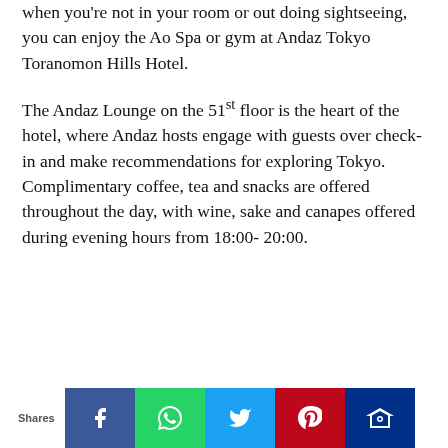when you're not in your room or out doing sightseeing, you can enjoy the Ao Spa or gym at Andaz Tokyo Toranomon Hills Hotel.
The Andaz Lounge on the 51st floor is the heart of the hotel, where Andaz hosts engage with guests over check-in and make recommendations for exploring Tokyo. Complimentary coffee, tea and snacks are offered throughout the day, with wine, sake and canapes offered during evening hours from 18:00- 20:00.
Shares